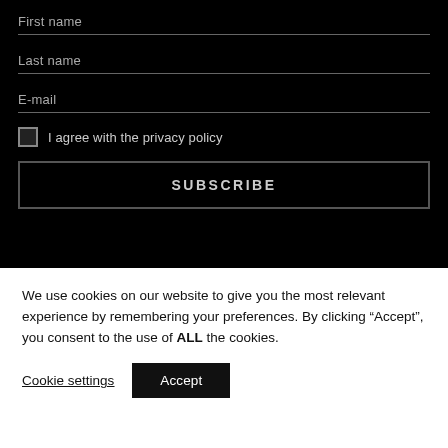First name
Last name
E-mail
I agree with the privacy policy
SUBSCRIBE
We use cookies on our website to give you the most relevant experience by remembering your preferences. By clicking “Accept”, you consent to the use of ALL the cookies.
Cookie settings
Accept